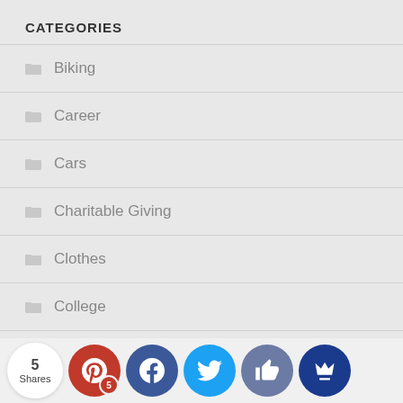CATEGORIES
Biking
Career
Cars
Charitable Giving
Clothes
College
Coronavirus Pandemic
Credit Card
5 Shares | Pinterest 5 | Facebook | Twitter | Thumbs up | Crown